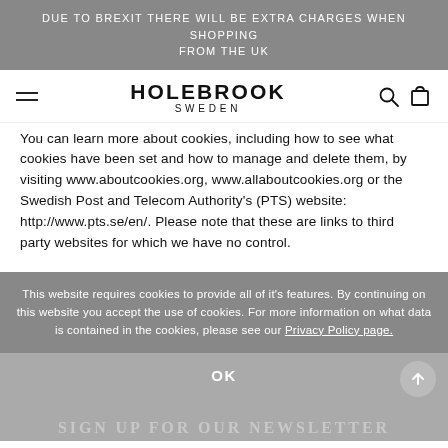DUE TO BREXIT THERE WILL BE EXTRA CHARGES WHEN SHOPPING FROM THE UK
[Figure (logo): Holebrook Sweden logo with hamburger menu, search icon, and cart icon]
You can learn more about cookies, including how to see what cookies have been set and how to manage and delete them, by visiting www.aboutcookies.org, www.allaboutcookies.org or the Swedish Post and Telecom Authority's (PTS) website: http://www.pts.se/en/. Please note that these are links to third party websites for which we have no control.
This website requires cookies to provide all of it's features. By continuing on this website you accept the use of cookies. For more information on what data is contained in the cookies, please see our Privacy Policy page.
OK
SIGN UP FOR OUR NEWSLETTER